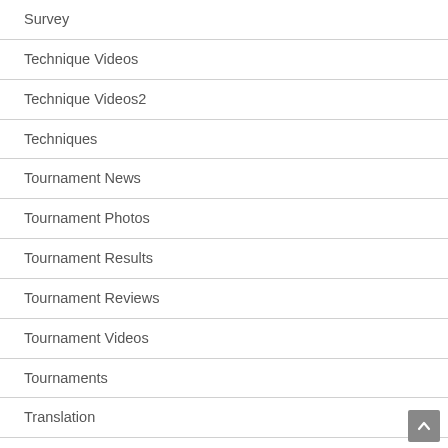Survey
Technique Videos
Technique Videos2
Techniques
Tournament News
Tournament Photos
Tournament Results
Tournament Reviews
Tournament Videos
Tournaments
Translation
Video Production, Editing and Other
Video: Featured Home